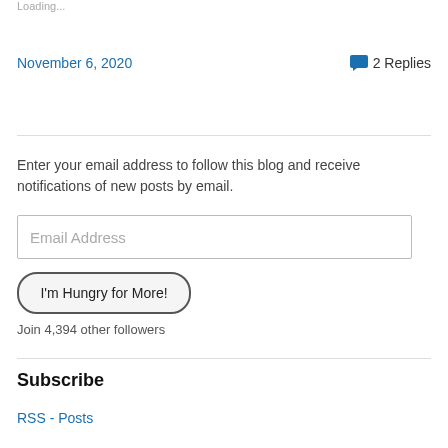Loading...
November 6, 2020
2 Replies
Enter your email address to follow this blog and receive notifications of new posts by email.
Email Address
I'm Hungry for More!
Join 4,394 other followers
Subscribe
RSS - Posts